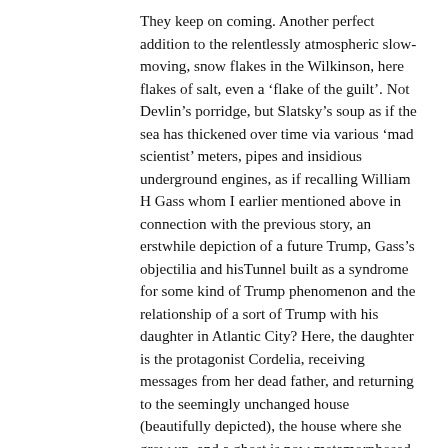They keep on coming. Another perfect addition to the relentlessly atmospheric slow-moving, snow flakes in the Wilkinson, here flakes of salt, even a 'flake of the guilt'. Not Devlin's porridge, but Slatsky's soup as if the sea has thickened over time via various 'mad scientist' meters, pipes and insidious underground engines, as if recalling William H Gass whom I earlier mentioned above in connection with the previous story, an erstwhile depiction of a future Trump, Gass's objectilia and hisTunnel built as a syndrome for some kind of Trump phenomenon and the relationship of a sort of Trump with his daughter in Atlantic City? Here, the daughter is the protagonist Cordelia, receiving messages from her dead father, and returning to the seemingly unchanged house (beautifully depicted), the house where she grew up, and a ghost is now metamorphosed from history and nostalgia in generative union.
Ungraspable, but with fixed Zeno's paradox staying power grasping YOU instead. Here a